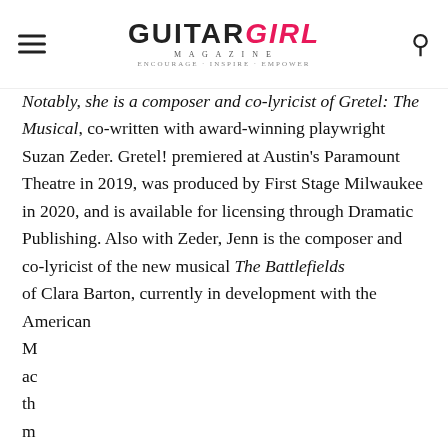Guitar Girl Magazine
Notably, she is a composer and co-lyricist of Gretel: The Musical, co-written with award-winning playwright Suzan Zeder. Gretel! premiered at Austin's Paramount Theatre in 2019, was produced by First Stage Milwaukee in 2020, and is available for licensing through Dramatic Publishing. Also with Zeder, Jenn is the composer and co-lyricist of the new musical The Battlefields of Clara Barton, currently in development with the American M... ac... th... m... C... Je... P... Board of the International Association for Performing Arts for
Cookie consent

This website uses cookies to improve your experience. We will assume you are ok with this, but you can opt-out if you wish. Read More
Preferences
Accept All